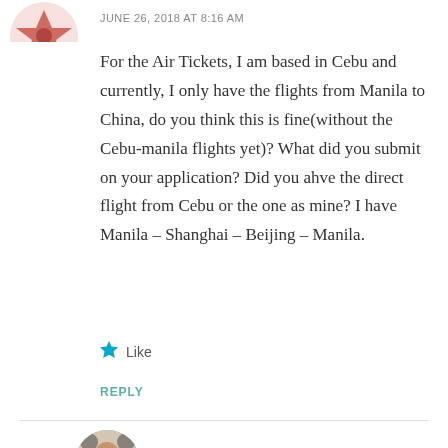[Figure (illustration): Partial decorative avatar/logo icon in brown/red tones, cropped at top-left]
JUNE 26, 2018 AT 8:16 AM
For the Air Tickets, I am based in Cebu and currently, I only have the flights from Manila to China, do you think this is fine(without the Cebu-manila flights yet)? What did you submit on your application? Did you ahve the direct flight from Cebu or the one as mine? I have Manila – Shanghai – Beijing – Manila.
Like
REPLY
[Figure (photo): Circular profile photo of Christine Layumas, a woman, with a decorative background]
Christine Layumas